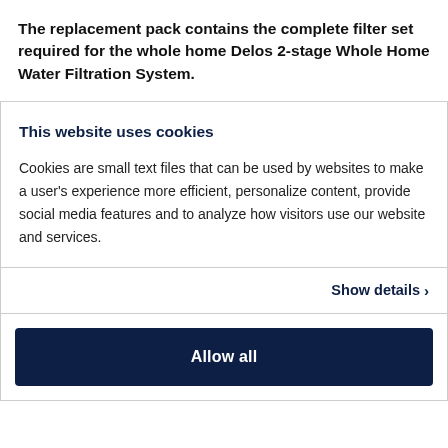The replacement pack contains the complete filter set required for the whole home Delos 2-stage Whole Home Water Filtration System.
This website uses cookies
Cookies are small text files that can be used by websites to make a user's experience more efficient, personalize content, provide social media features and to analyze how visitors use our website and services.
Show details >
Allow all